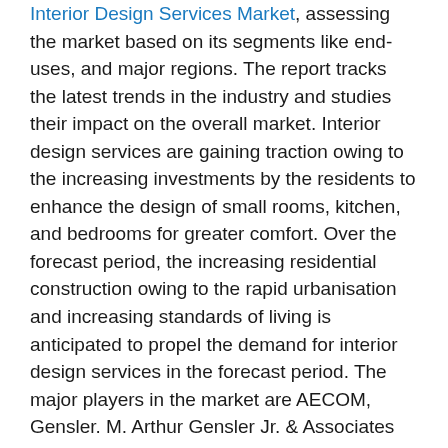Interior Design Services Market, assessing the market based on its segments like end-uses, and major regions. The report tracks the latest trends in the industry and studies their impact on the overall market. Interior design services are gaining traction owing to the increasing investments by the residents to enhance the design of small rooms, kitchen, and bedrooms for greater comfort. Over the forecast period, the increasing residential construction owing to the rapid urbanisation and increasing standards of living is anticipated to propel the demand for interior design services in the forecast period. The major players in the market are AECOM, Gensler. M. Arthur Gensler Jr. & Associates Inc., Jacobs Engineering Group Inc., Perkins & Will International Group of Companies, and Stantec Inc., among others. Expert Market Research have 500+ analyst team that provide our clients A+ services. We are providing expansive industry data